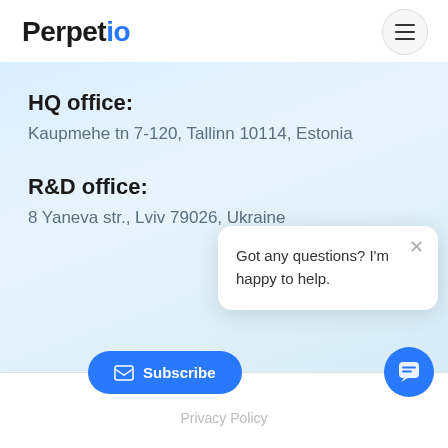Perpetio
HQ office:
Kaupmehe tn 7-120, Tallinn 10114, Estonia
R&D office:
8 Yaneva str., Lviv 79026, Ukraine
Got any questions? I'm happy to help.
Privacy Policy